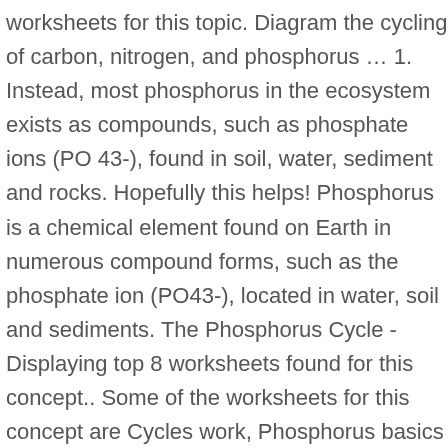worksheets for this topic. Diagram the cycling of carbon, nitrogen, and phosphorus … 1. Instead, most phosphorus in the ecosystem exists as compounds, such as phosphate ions (PO 43-), found in soil, water, sediment and rocks. Hopefully this helps! Phosphorus is a chemical element found on Earth in numerous compound forms, such as the phosphate ion (PO43-), located in water, soil and sediments. The Phosphorus Cycle - Displaying top 8 worksheets found for this concept.. Some of the worksheets for this concept are Cycles work, Phosphorus basics the phosphorus cycle, Biogeochemical cycles lesson 4, The nitrogen and phosphorous cycle in soils, Nitrogen cycle, The water cycle, Cycles. Half Life Problems . This pack of 2 lessons includes worksheets and activities about the Carbon Cycle, Nitrogen Cycle, and Phosphorous